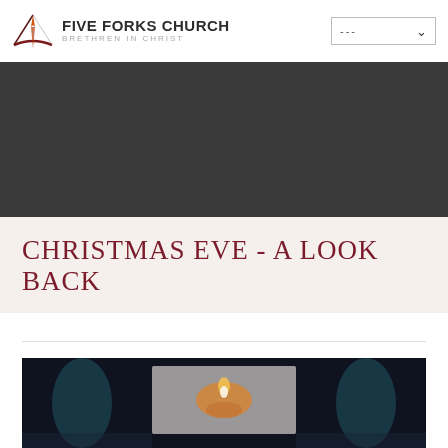FIVE FORKS CHURCH BRETHREN IN CHRIST
[Figure (photo): Dark banner / hero image area with dark gray background]
CHRISTMAS EVE - A LOOK BACK
[Figure (photo): Church interior photo showing a stage with a lit candle on a screen, teal/blue stage lighting, dark background]